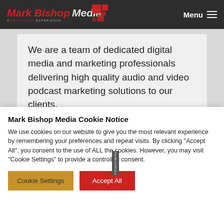Mark Bishop Media — A TRI-DIGITAL EXPERIENCE | Menu
We are a team of dedicated digital media and marketing professionals delivering high quality audio and video podcast marketing solutions to our clients.
[Figure (screenshot): Partial episode preview strip showing a yellow sun icon, 'TMR E47:' text label, arrow icon, and a night-time building photo with a PrivacyWire badge]
Mark Bishop Media Cookie Notice
We use cookies on our website to give you the most relevant experience by remembering your preferences and repeat visits. By clicking "Accept All", you consent to the use of ALL the cookies. However, you may visit "Cookie Settings" to provide a controlled consent.
Cookie Settings   Accept All